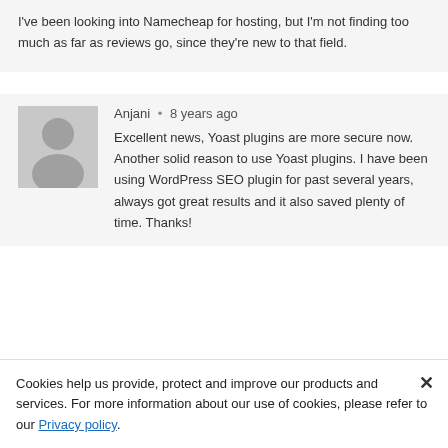I've been looking into Namecheap for hosting, but I'm not finding too much as far as reviews go, since they're new to that field.
Anjani • 8 years ago
Excellent news, Yoast plugins are more secure now. Another solid reason to use Yoast plugins. I have been using WordPress SEO plugin for past several years, always got great results and it also saved plenty of time. Thanks!
Cookies help us provide, protect and improve our products and services. For more information about our use of cookies, please refer to our Privacy policy.